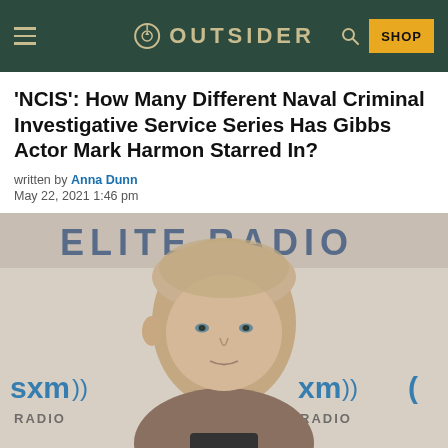OUTSIDER — SHOP
'NCIS': How Many Different Naval Criminal Investigative Service Series Has Gibbs Actor Mark Harmon Starred In?
written by Anna Dunn
May 22, 2021 1:46 pm
[Figure (photo): Mark Harmon photographed at a SiriusXM Radio event, facing camera with text 'ELITE RADIO' and 'sxm RADIO' logos visible in background]